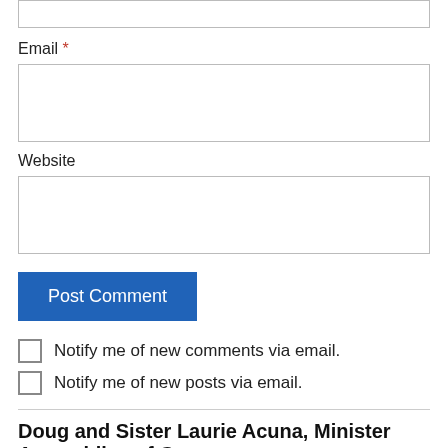[Figure (screenshot): Top partial input box (clipped at top of page)]
Email *
[Figure (screenshot): Email input text box]
Website
[Figure (screenshot): Website input text box]
Post Comment
Notify me of new comments via email.
Notify me of new posts via email.
Doug and Sister Laurie Acuna, Minister Assemblies of Go...